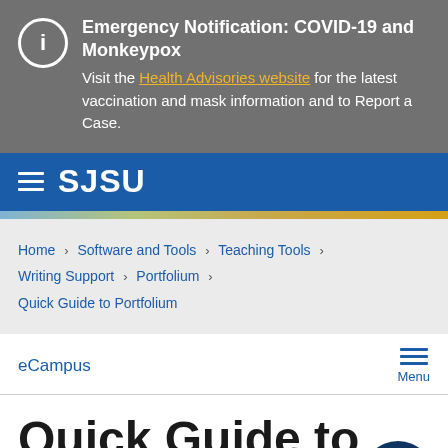Emergency Notification: COVID-19 and Monkeypox. Visit the Health Advisories website for the latest vaccination and mask information and to Report a Case.
SJSU
Home > Software and Tools > Teaching Tools > Writing Support > Portfolium > Quick Guide to Portfolium
eCampus
Quick Guide to Portfolium